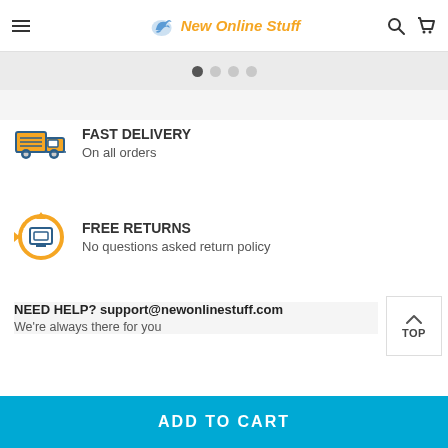New Online Stuff
[Figure (screenshot): Slider pagination dots — one active dark dot and three inactive grey dots]
FAST DELIVERY
On all orders
FREE RETURNS
No questions asked return policy
NEED HELP? support@newonlinestuff.com
We're always there for you
ADD TO CART